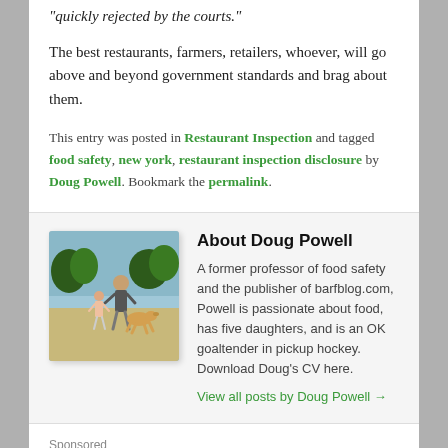“quickly rejected by the courts.”
The best restaurants, farmers, retailers, whoever, will go above and beyond government standards and brag about them.
This entry was posted in Restaurant Inspection and tagged food safety, new york, restaurant inspection disclosure by Doug Powell. Bookmark the permalink.
About Doug Powell
[Figure (photo): Photo of Doug Powell walking on a beach with a child and dog]
A former professor of food safety and the publisher of barfblog.com, Powell is passionate about food, has five daughters, and is an OK goaltender in pickup hockey. Download Doug’s CV here.
View all posts by Doug Powell →
Sponsored